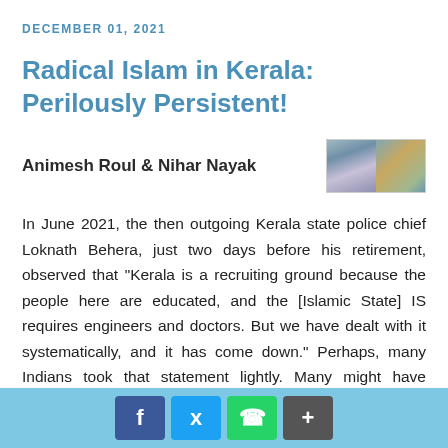DECEMBER 01, 2021
Radical Islam in Kerala: Perilously Persistent!
Animesh Roul & Nihar Nayak
[Figure (photo): Two-panel author photo thumbnail]
In June 2021, the then outgoing Kerala state police chief Loknath Behera, just two days before his retirement, observed that "Kerala is a recruiting ground because the people here are educated, and the [Islamic State] IS requires engineers and doctors. But we have dealt with it systematically, and it has come down." Perhaps, many Indians took that statement lightly. Many might have thought that the former police chief must be aspiring to